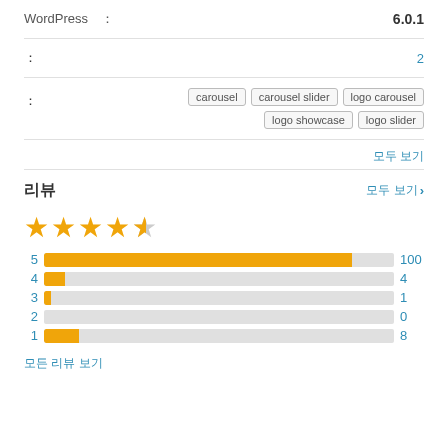| Field | Value |
| --- | --- |
| WordPress ： | 6.0.1 |
| ： | 2 |
| ： | carousel  carousel slider  logo carousel  logo showcase  logo slider |
모두 보기
리뷰
모두 보기 >
[Figure (bar-chart): Rating distribution]
모든 리뷰 보기